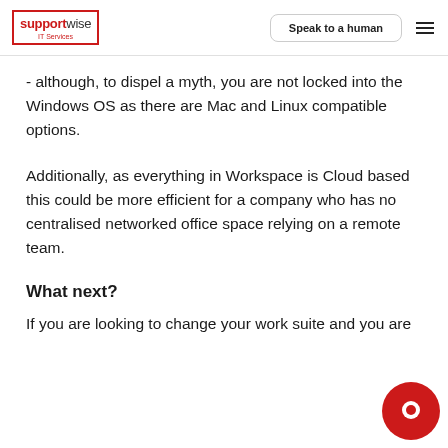supportwise IT Services | Speak to a human
- although, to dispel a myth, you are not locked into the Windows OS as there are Mac and Linux compatible options.
Additionally, as everything in Workspace is Cloud based this could be more efficient for a company who has no centralised networked office space relying on a remote team.
What next?
If you are looking to change your work suite and you are